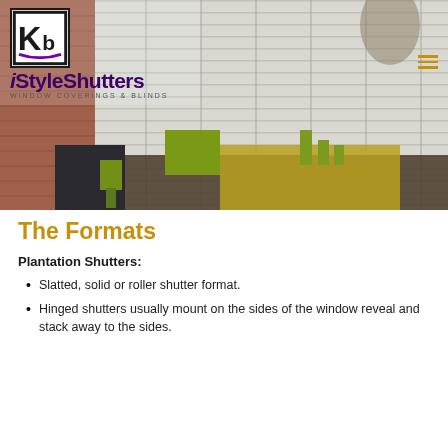[Figure (photo): Interior room with white plantation shutters on large windows, a dark dining table with yellow runner and green candles, a black armchair with a green cushion, and a green plant. iStyleShutters logo and hamburger menu visible in overlay.]
The Formats
Plantation Shutters:
Slatted, solid or roller shutter format.
Hinged shutters usually mount on the sides of the window reveal and stack away to the sides.